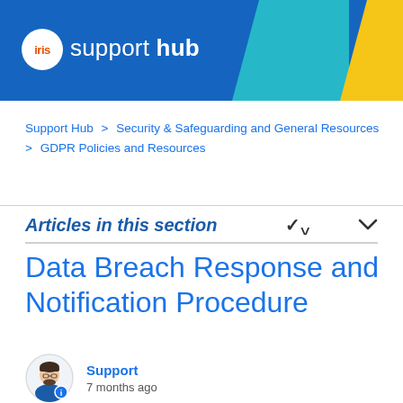[Figure (logo): IRIS Support Hub header banner with blue background, teal and yellow geometric shapes on right, IRIS logo circle on left with 'support hub' text in white]
Support Hub > Security & Safeguarding and General Resources > GDPR Policies and Resources
Articles in this section
Data Breach Response and Notification Procedure
Support
7 months ago